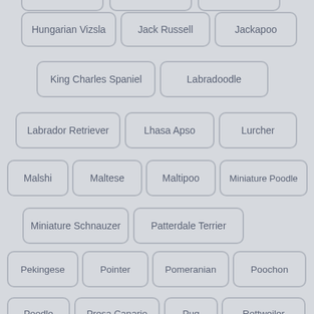Hungarian Vizsla
Jack Russell
Jackapoo
King Charles Spaniel
Labradoodle
Labrador Retriever
Lhasa Apso
Lurcher
Malshi
Maltese
Maltipoo
Miniature Poodle
Miniature Schnauzer
Patterdale Terrier
Pekingese
Pointer
Pomeranian
Poochon
Poodle
Presa Canario
Pug
Rottweiler
Saluki
Samoyed
Schnauzer
Shar Pei